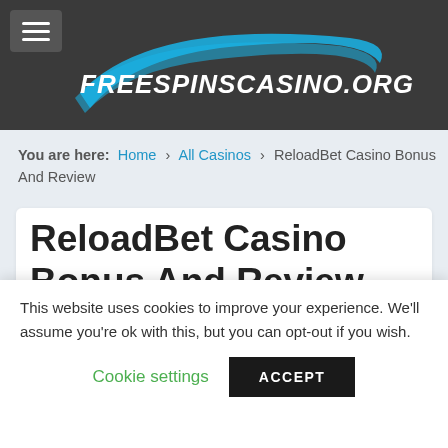FREESPINSCASINO.ORG
You are here: Home > All Casinos > ReloadBet Casino Bonus And Review
ReloadBet Casino Bonus And Review
This website uses cookies to improve your experience. We'll assume you're ok with this, but you can opt-out if you wish.
Cookie settings   ACCEPT